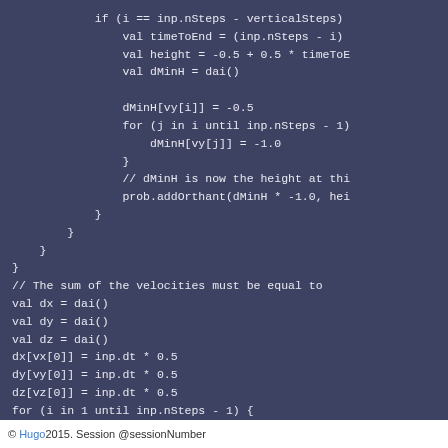[Figure (screenshot): Code block showing Scala/functional code on a dark blue-grey background. Code includes conditional logic for timeToEnd, height, dMinH calculations, loops, and variable declarations for dx, dy, dz with inp.dt * 0.5 assignments.]
© Hugo2015. Session @sessionNumber